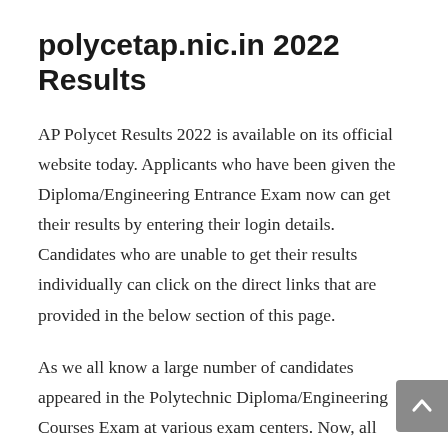polycetap.nic.in 2022 Results
AP Polycet Results 2022 is available on its official website today. Applicants who have been given the Diploma/Engineering Entrance Exam now can get their results by entering their login details. Candidates who are unable to get their results individually can click on the direct links that are provided in the below section of this page.
As we all know a large number of candidates appeared in the Polytechnic Diploma/Engineering Courses Exam at various exam centers. Now, all applicants are able to check their AP Polytechnic